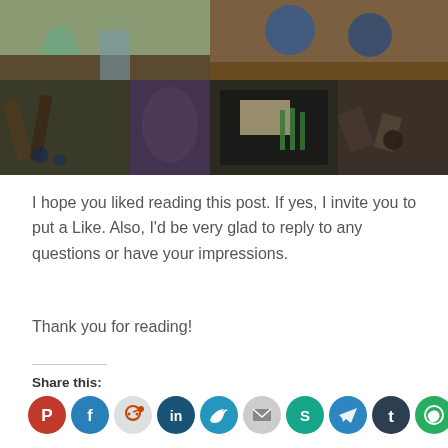[Figure (photo): Collage of 6 photos showing glass bottles, hammock, bar interior, and other items]
I hope you liked reading this post. If yes, I invite you to put a Like. Also, I'd be very glad to reply to any questions or have your impressions.
Thank you for reading!
Share this:
[Figure (infographic): Row of social media share buttons: Pinterest, Facebook, Reddit, LinkedIn, Twitter, Email, Skype, Telegram, Tumblr, WhatsApp]